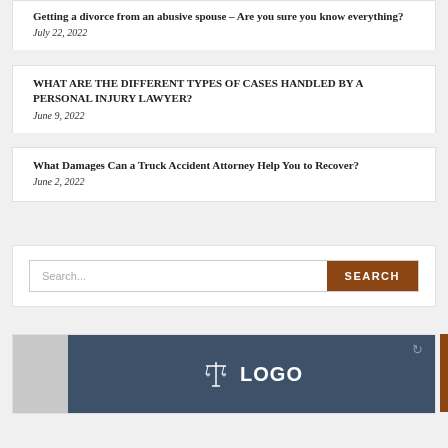Getting a divorce from an abusive spouse – Are you sure you know everything?
July 22, 2022
WHAT ARE THE DIFFERENT TYPES OF CASES HANDLED BY A PERSONAL INJURY LAWYER?
June 9, 2022
What Damages Can a Truck Accident Attorney Help You to Recover?
June 2, 2022
[Figure (screenshot): Search bar with text input and brown SEARCH button]
[Figure (logo): Law firm logo with scales of justice icon and LOGO wordmark on dark blue background, grey left panel, dark orange vertical bar on right edge]